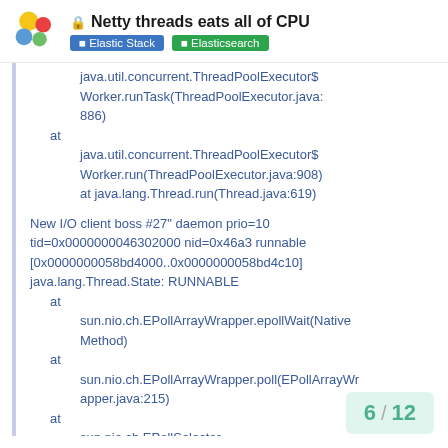Netty threads eats all of CPU — Elastic Stack / Elasticsearch
java.util.concurrent.ThreadPoolExecutor$Worker.runTask(ThreadPoolExecutor.java:886)
    at java.util.concurrent.ThreadPoolExecutor$Worker.run(ThreadPoolExecutor.java:908)
    at java.lang.Thread.run(Thread.java:619)

New I/O client boss #27" daemon prio=10 tid=0x0000000046302000 nid=0x46a3 runnable [0x0000000058bd4000..0x0000000058bd4c10]
java.lang.Thread.State: RUNNABLE
    at sun.nio.ch.EPollArrayWrapper.epollWait(Native Method)
    at sun.nio.ch.EPollArrayWrapper.poll(EPollArrayWrapper.java:215)
    at
6 / 12